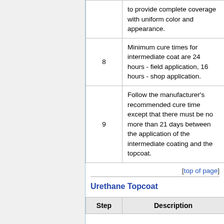| Step | Description |
| --- | --- |
|  | to provide complete coverage with uniform color and appearance. |
| 8 | Minimum cure times for intermediate coat are 24 hours - field application, 16 hours - shop application. |
| 9 | Follow the manufacturer's recommended cure time except that there must be no more than 21 days between the application of the intermediate coating and the topcoat. |
[top of page]
Urethane Topcoat
| Step | Description |
| --- | --- |